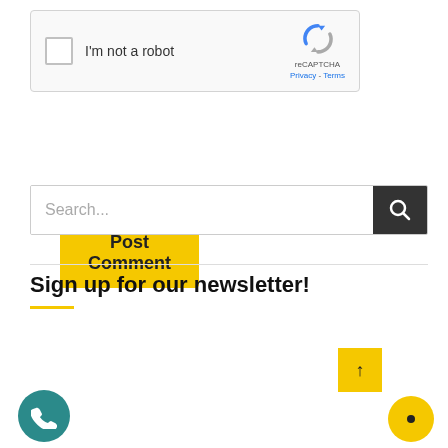[Figure (screenshot): reCAPTCHA widget with checkbox and 'I'm not a robot' label, reCAPTCHA logo, Privacy and Terms links]
[Figure (screenshot): Yellow 'Post Comment' button]
[Figure (screenshot): Search bar with placeholder text 'Search...' and dark search button with magnifying glass icon]
Sign up for our newsletter!
[Figure (screenshot): Newsletter signup form with 'What should we call you?' and 'Your email*' input fields, yellow upload button]
[Figure (screenshot): Second reCAPTCHA widget at bottom with phone and chat buttons]